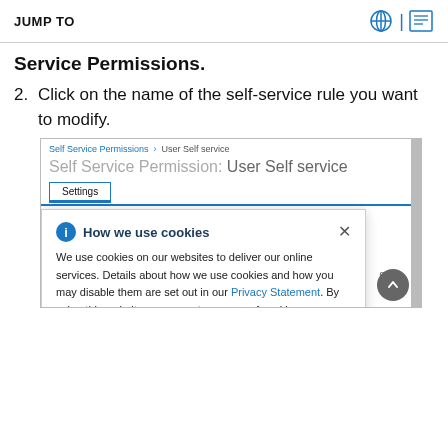JUMP TO
Service Permissions.
2. Click on the name of the self-service rule you want to modify.
[Figure (screenshot): Screenshot showing a Self Service Permissions page with breadcrumb 'Self Service Permissions > User Self service', page title 'Self Service Permission: User Self service', and a Settings tab selected. A cookie consent popup overlays the bottom portion showing 'How we use cookies' with information icon and close button. Text explains cookie usage with a Privacy Statement link. A back-to-top button appears bottom right. Bottom shows checkboxes for gidnumber and givenname.]